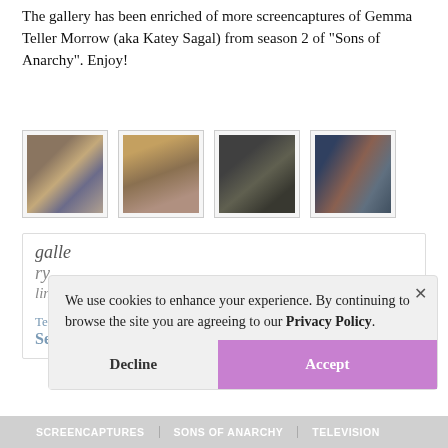The gallery has been enriched of more screencaptures of Gemma Teller Morrow (aka Katey Sagal) from season 2 of "Sons of Anarchy". Enjoy!
[Figure (photo): Four thumbnail photos of Gemma Teller Morrow (Katey Sagal) from Sons of Anarchy season 2]
galle
ry
link
Television Series > Sons Of Anarchy > Season 2 > Screencaptures
We use cookies to enhance your experience. By continuing to browse the site you are agreeing to our Privacy Policy.
Decline   Accept
SCREENCAPTURES   SONS OF ANARCHY   TELEVISION